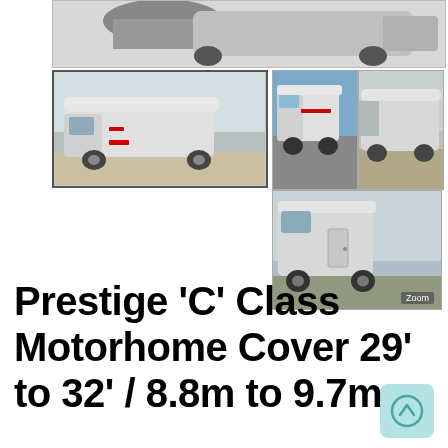[Figure (photo): Gallery of product photos showing a motorhome with a grey cover. Top wide image partially visible showing cover on motorhome. Bottom row: left thumbnail with border showing covered motorhome, middle top thumbnail showing motorhome parked outdoors, right thumbnail showing covered grey motorhome, bottom middle thumbnail showing front/side of covered motorhome with Zoom label.]
Prestige 'C' Class Motorhome Cover 29' to 32' / 8.8m to 9.7m